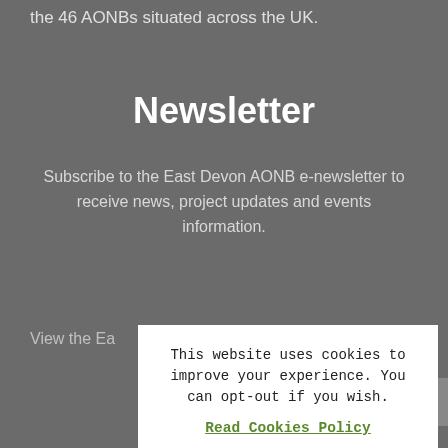the 46 AONBs situated across the UK.
Newsletter
Subscribe to the East Devon AONB e-newsletter to receive news, project updates and events information.
View the Ea...
This website uses cookies to improve your experience. You can opt-out if you wish. Read Cookies Policy Accept Reject Cookie settings